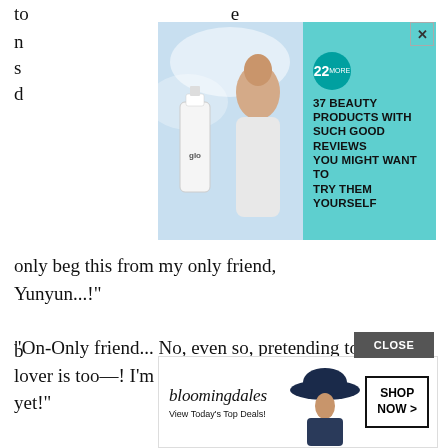to... ...e
[Figure (illustration): Advertisement banner for '22 MORE: 37 Beauty Products With Such Good Reviews You Might Want To Try Them Yourself' featuring a beauty product (nail polish bottle labeled 'glo') and a woman, on a teal background.]
only beg this from my only friend, Yunyun...!"
“On-Only friend... No, even so, pretending to be a lover is too—! I’m only 13-year-old. I’m not an adult yet!”
Seeing her troubled face, the man said.
“No problem. Just a simple greeting will do! I don’t intend to do anything, so there won’t b
[Figure (illustration): Bloomingdale's advertisement: 'bloomingdales - View Today's Top Deals!' with a woman wearing a large blue hat and a 'SHOP NOW >' button.]